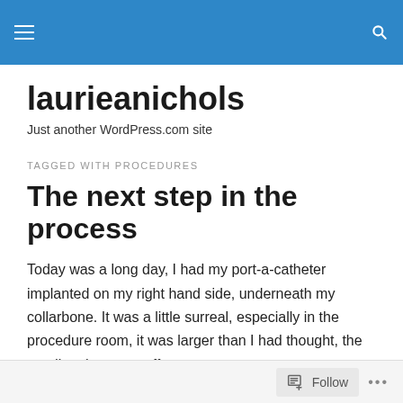laurieanichols — Just another WordPress.com site
laurieanichols
Just another WordPress.com site
TAGGED WITH PROCEDURES
The next step in the process
Today was a long day, I had my port-a-catheter implanted on my right hand side, underneath my collarbone. It was a little surreal, especially in the procedure room, it was larger than I had thought, the wording threw me off,
Follow